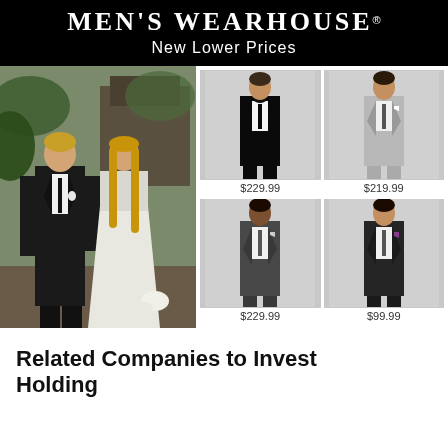MEN'S WEARHOUSE®
New Lower Prices
[Figure (photo): Men's Wearhouse advertisement showing a man in a black suit and a woman in a white dress at a wedding, alongside four suit product images priced at $229.99, $219.99, $229.99, and $99.99]
Related Companies to Invest Holding